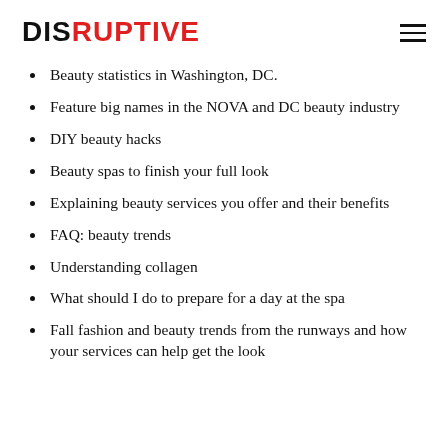DISRUPTIVE
Beauty statistics in Washington, DC.
Feature big names in the NOVA and DC beauty industry
DIY beauty hacks
Beauty spas to finish your full look
Explaining beauty services you offer and their benefits
FAQ: beauty trends
Understanding collagen
What should I do to prepare for a day at the spa
Fall fashion and beauty trends from the runways and how your services can help get the look